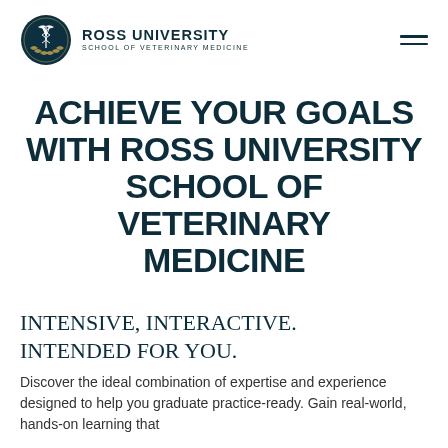[Figure (logo): Ross University School of Veterinary Medicine logo: circular dark teal emblem with a caduceus/veterinary symbol and laurel wreath, beside text 'ROSS UNIVERSITY' and 'SCHOOL OF VETERINARY MEDICINE']
ACHIEVE YOUR GOALS WITH ROSS UNIVERSITY SCHOOL OF VETERINARY MEDICINE
INTENSIVE, INTERACTIVE. INTENDED FOR YOU.
Discover the ideal combination of expertise and experience designed to help you graduate practice-ready. Gain real-world, hands-on learning that